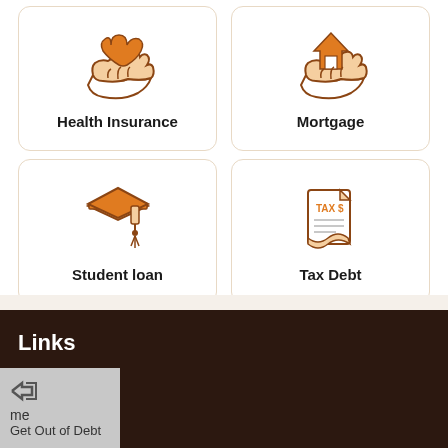[Figure (illustration): Card with hand holding a heart icon representing Health Insurance]
Health Insurance
[Figure (illustration): Card with hand holding a house icon representing Mortgage]
Mortgage
[Figure (illustration): Card with graduation cap icon representing Student loan]
Student loan
[Figure (illustration): Card with TAX $ document icon representing Tax Debt]
Tax Debt
Links
Home
Get Out of Debt